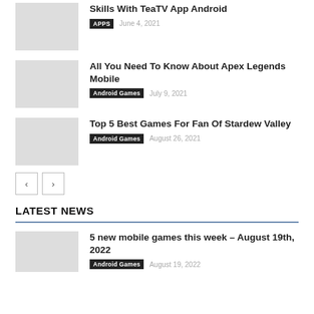Skills With TeaTV App Android
APPS  June 4, 2021
All You Need To Know About Apex Legends Mobile
Android Games  July 9, 2021
Top 5 Best Games For Fan Of Stardew Valley
Android Games  August 26, 2021
LATEST NEWS
5 new mobile games this week – August 19th, 2022
Android Games  August 19, 2022